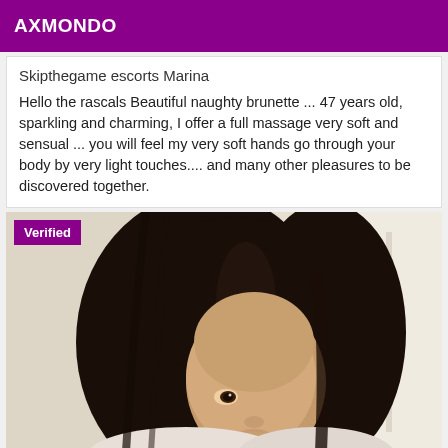AXMONDO
Skipthegame escorts Marina
Hello the rascals Beautiful naughty brunette ... 47 years old, sparkling and charming, I offer a full massage very soft and sensual ... you will feel my very soft hands go through your body by very light touches.... and many other pleasures to be discovered together.
[Figure (photo): Verified profile photo of a brunette woman, partially visible from the shoulders up, with dark long hair, taken in a light-colored room. A purple 'Verified' badge is shown in the top-left corner of the image.]